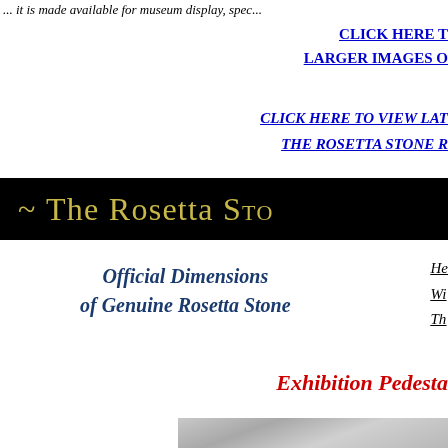... it is made available for museum display, spec...
CLICK HERE T... LARGER IMAGES O...
CLICK HERE TO VIEW LAT... THE ROSETTA STONE R...
~ The Rosetta Sto...
Official Dimensions of Genuine Rosetta Stone
He... Wi... Th...
Exhibition Pedesta...
[Figure (photo): Photo of a stone/tablet replica on a surface, partially visible at bottom of page]